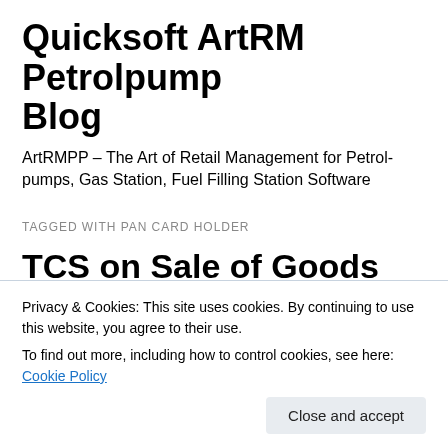Quicksoft ArtRM Petrolpump Blog
ArtRMPP – The Art of Retail Management for Petrol-pumps, Gas Station, Fuel Filling Station Software
TAGGED WITH PAN CARD HOLDER
TCS on Sale of Goods
Tax Collected at source (TCS) is Income Tax which is required to be collected by the seller (Collector) from
Privacy & Cookies: This site uses cookies. By continuing to use this website, you agree to their use.
To find out more, including how to control cookies, see here: Cookie Policy
The Finance Act, 2020 has made an amendment by